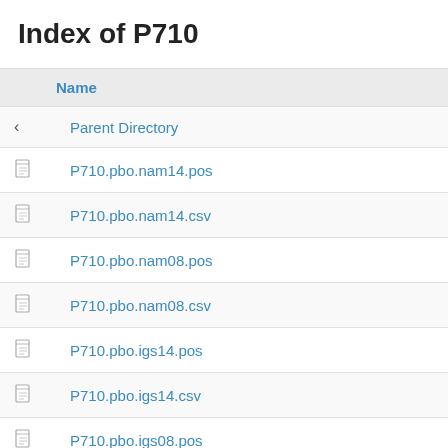Index of P710
| Name |
| --- |
| < Parent Directory |
| P710.pbo.nam14.pos |
| P710.pbo.nam14.csv |
| P710.pbo.nam08.pos |
| P710.pbo.nam08.csv |
| P710.pbo.igs14.pos |
| P710.pbo.igs14.csv |
| P710.pbo.igs08.pos |
| P710.pbo.igs08... |